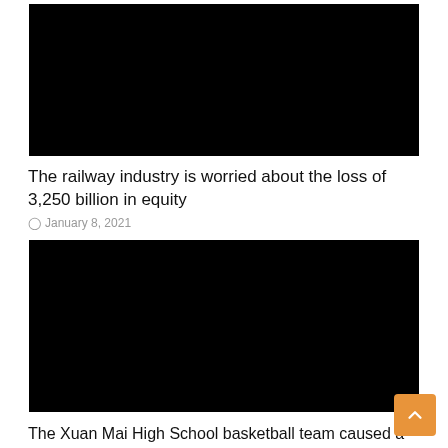[Figure (photo): Black rectangular image placeholder (top article)]
The railway industry is worried about the loss of 3,250 billion in equity
January 8, 2021
[Figure (photo): Black rectangular image placeholder (bottom article)]
The Xuan Mai High School basketball team caused a fever with great images, the “hooliganism” spread and then made everyone lose their heart.